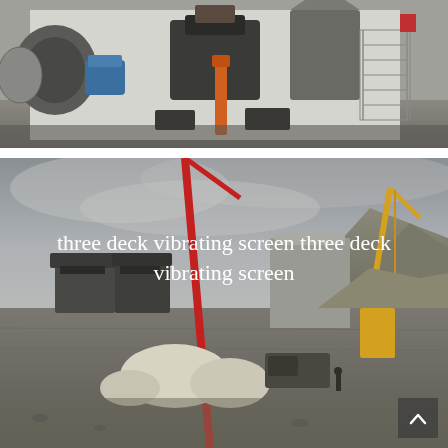[Figure (photo): Industrial machinery inside a building — large mechanical equipment including motors, hoppers, and structural components on a concrete floor, photographed from outside looking in]
[Figure (photo): Outdoor industrial construction site with cranes (red and yellow), crushers, large machinery being installed, stone aggregate piles, vehicles, and mountains in background under cloudy sky. Overlaid white text reads 'three deck vibrating screen three deck vibrating screen']